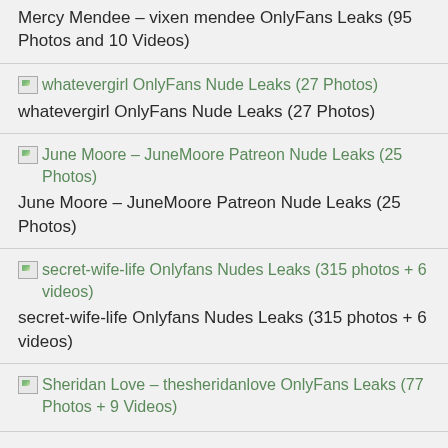Mercy Mendee – vixen mendee OnlyFans Leaks (95 Photos and 10 Videos)
whatevergirl OnlyFans Nude Leaks (27 Photos)
June Moore – JuneMoore Patreon Nude Leaks (25 Photos)
secret-wife-life Onlyfans Nudes Leaks (315 photos + 6 videos)
Sheridan Love – thesheridanlove OnlyFans Leaks (77 Photos + 9 Videos)